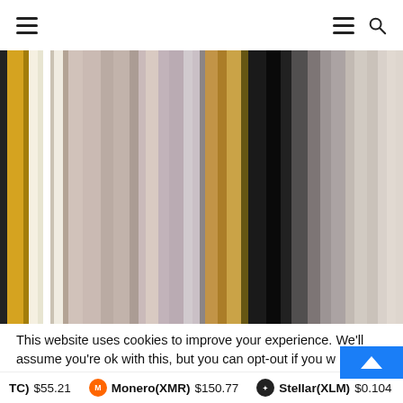Navigation header with hamburger menus and search icon
[Figure (photo): Abstract blurred vertical color stripes in gold, black, white, gray, and beige tones]
This website uses cookies to improve your experience. We'll assume you're ok with this, but you can opt-out if you w
(BTC) $55.21   Monero(XMR) $150.77   Stellar(XLM) $0.1104